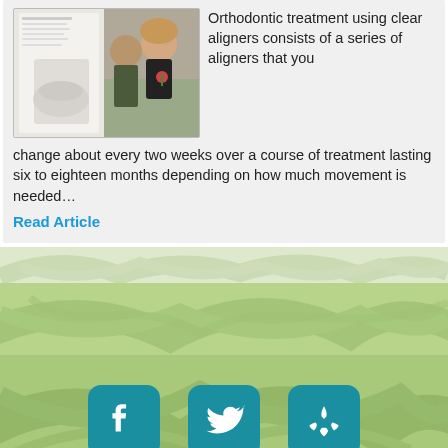[Figure (photo): Article thumbnail showing a dental aligner device held by hand on the left, and a couple at a restaurant on the right]
Orthodontic treatment using clear aligners consists of a series of aligners that you change about every two weeks over a course of treatment lasting six to eighteen months depending on how much movement is needed…
Read Article
[Figure (illustration): Decorative green leaf background section]
[Figure (illustration): Darker green leaf/nature textured background]
[Figure (infographic): Social media icons: Facebook, Twitter, Yelp on green leaf background]